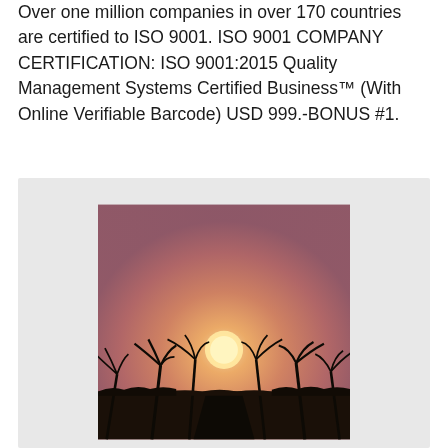Over one million companies in over 170 countries are certified to ISO 9001. ISO 9001 COMPANY CERTIFICATION: ISO 9001:2015 Quality Management Systems Certified Business™ (With Online Verifiable Barcode) USD 999.-BONUS #1.
[Figure (photo): Sunset photo showing silhouettes of palm trees bending in the wind against a warm orange-pink sky with a bright sun low on the horizon. Dark landscape in the foreground.]